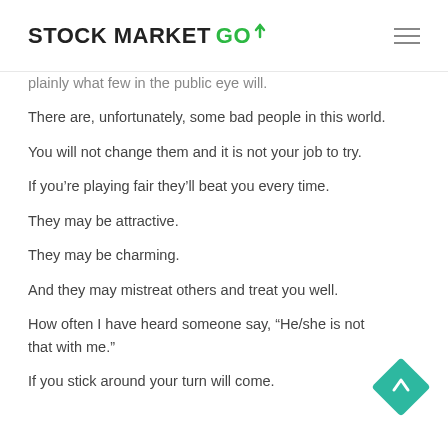STOCK MARKET GO
plainly what few in the public eye will.
There are, unfortunately, some bad people in this world.
You will not change them and it is not your job to try.
If you’re playing fair they’ll beat you every time.
They may be attractive.
They may be charming.
And they may mistreat others and treat you well.
How often I have heard someone say, “He/she is not that with me.”
If you stick around your turn will come.